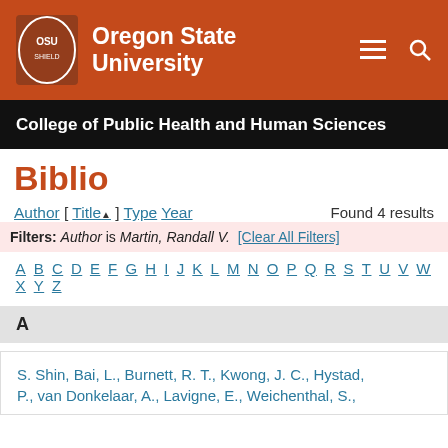Oregon State University
College of Public Health and Human Sciences
Biblio
Author [ Title ] Type Year   Found 4 results
Filters: Author is Martin, Randall V. [Clear All Filters]
A B C D E F G H I J K L M N O P Q R S T U V W X Y Z
A
S. Shin, Bai, L., Burnett, R. T., Kwong, J. C., Hystad, P., van Donkelaar, A., Lavigne, E., Weichenthal, S.,